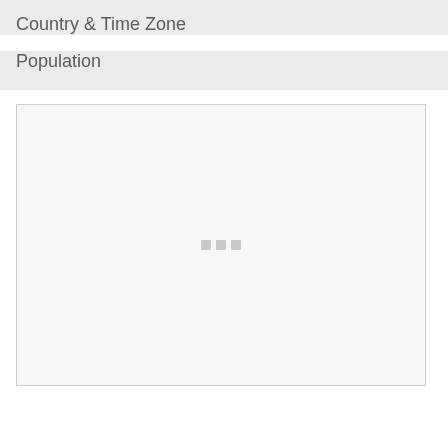Country & Time Zone
Population
[Figure (other): Empty chart placeholder with loading indicator dots, chart area outlined with light border on light grey background]